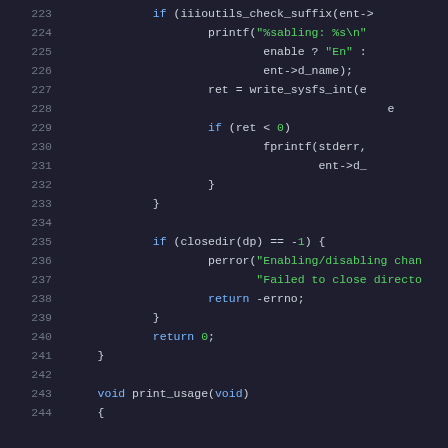[Figure (screenshot): Source code listing showing lines 223-244 of a C program. Lines show code for IIO utils channel enable/disable functionality including iiioutils_check_suffix, printf, write_sysfs_int, fprintf, closedir, perror, return errno, return 0, closing brace, and void print_usage(void) function definition.]